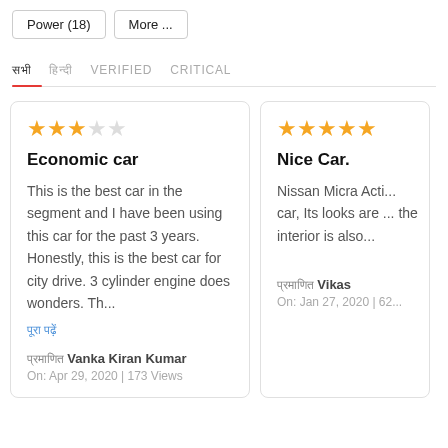Power (18)
More ...
सभी | हिन्दी | VERIFIED | CRITICAL
Economic car
★★★☆☆
This is the best car in the segment and I have been using this car for the past 3 years. Honestly, this is the best car for city drive. 3 cylinder engine does wonders. Th...
पूरा पढ़ें
प्रमाणित Vanka Kiran Kumar
On: Apr 29, 2020 | 173 Views
Nice Car.
★★★★½
Nissan Micra Acti... car, Its looks are... the interior is also...
प्रमाणित Vikas
On: Jan 27, 2020 | 62...